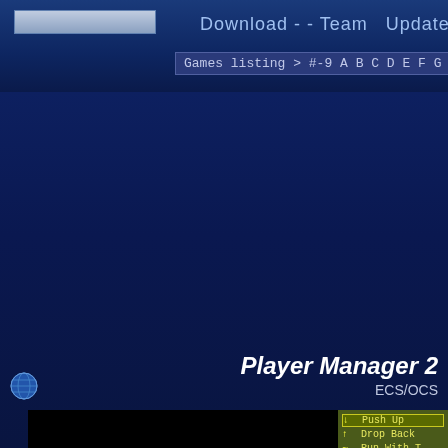Download - - Team  Update -
Games listing > #-9 A B C D E F G H I
Player Manager 2
ECS/OCS
[Figure (screenshot): Screenshot of Player Manager 2 game showing 'PLAYER' text logo on black background, with a game panel showing options: Push Up, Drop Back, Run With T, Play Wide, Tuck In]